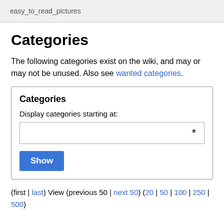easy_to_read_pictures
Categories
The following categories exist on the wiki, and may or may not be unused. Also see wanted categories.
Categories
Display categories starting at:
(first | last) View (previous 50 | next 50) (20 | 50 | 100 | 250 | 500)